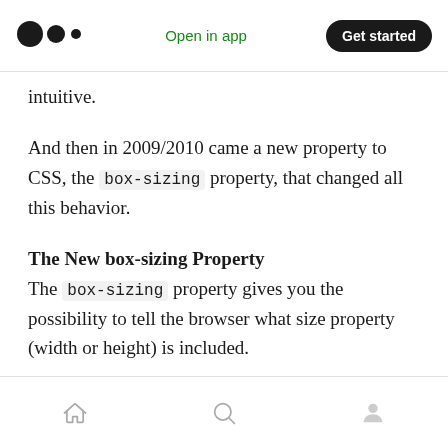Open in app | Get started
intuitive.
And then in 2009/2010 came a new property to CSS, the box-sizing property, that changed all this behavior.
The New box-sizing Property
The box-sizing property gives you the possibility to tell the browser what size property (width or height) is included.
By default, it included only the content ( content-
Home | Search | Profile